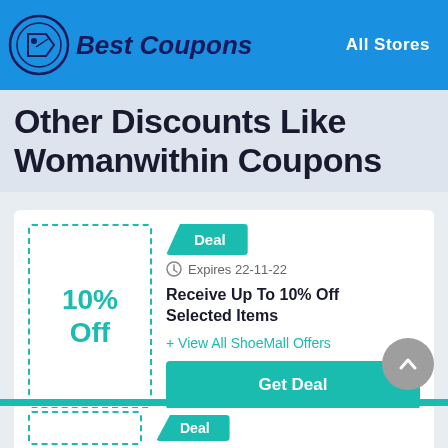Best Coupons — All Stores
Other Discounts Like Womanwithin Coupons
[Figure (infographic): Coupon card showing 10% Off discount deal for ShoeMall. Includes a dashed border box with '10% Off' text, a teal 'Deal' label tag, expiry date 'Expires 22-11-22', deal title 'Receive Up To 10% Off Selected Items', a '+ View All ShoeMall Offers' link, and a teal 'Get Deal' button.]
[Figure (infographic): Partial second coupon card visible at the bottom with a 'Deal' tag.]